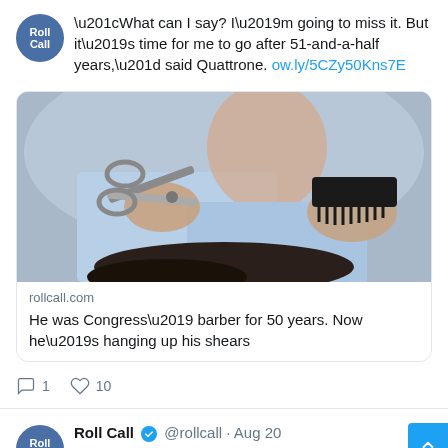“What can I say? I’m going to miss it. But it’s time for me to go after 51-and-a-half years,” said Quattrone. ow.ly/5CZy50Kns7E
[Figure (photo): Barber cutting hair with scissors and a comb, elderly barber in background]
rollcall.com
He was Congress’ barber for 50 years. Now he’s hanging up his shears
1  10
Roll Call @rollcall · Aug 20
Several media outlets argued that in such a high-profile case, the public should have the ability to...